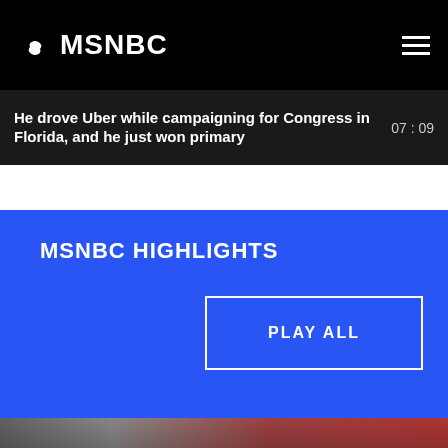MSNBC
He drove Uber while campaigning for Congress in Florida, and he just won primary
07:09
MSNBC HIGHLIGHTS
PLAY ALL
[Figure (photo): Crowd scene at a political rally, with a location badge reading YESTERDAY ROCKVILLE, MD]
YESTERDAY ROCKVILLE, MD